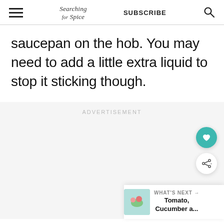Searching for Spice | SUBSCRIBE
saucepan on the hob. You may need to add a little extra liquid to stop it sticking though.
ADVERTISEMENT
WHAT'S NEXT → Tomato, Cucumber a...